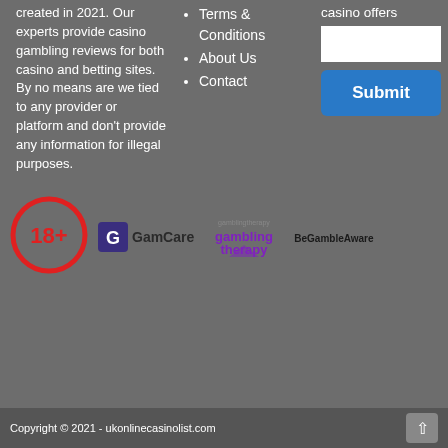created in 2021. Our experts provide casino gambling reviews for both casino and betting sites. By no means are we tied to any provider or platform and don't provide any information for illegal purposes.
Terms & Conditions
About Us
Contact
casino offers
[Figure (other): White text input box for casino offers email signup]
[Figure (other): Blue Submit button]
[Figure (logo): 18+ age restriction badge - red circle with 18+ text]
[Figure (logo): GamCare logo with G icon and GamCare text in dark color]
[Figure (logo): Gambling Therapy logo in purple]
[Figure (logo): BeGambleAware logo in dark text]
Copyright © 2021 - ukonlinecasinolist.com